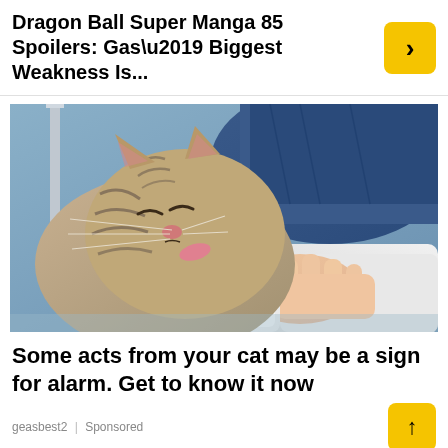Dragon Ball Super Manga 85 Spoilers: Gas’ Biggest Weakness Is...
[Figure (photo): A tabby kitten licking a white bottle held by a person wearing a grey sleeve and blue pants, photographed outdoors near a metal railing.]
Some acts from your cat may be a sign for alarm. Get to know it now
geasbest2 | Sponsored